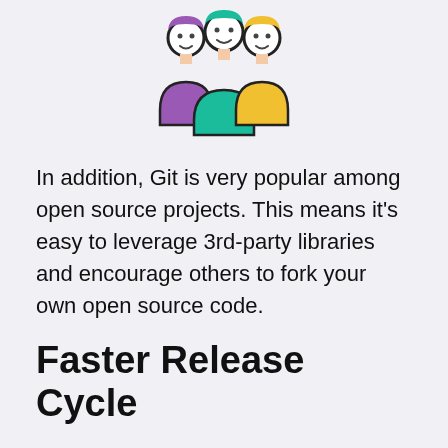[Figure (illustration): Three cartoon people icons side by side: left figure in purple, center figure in green/teal, right figure in yellow/orange. Outline style with white faces.]
In addition, Git is very popular among open source projects. This means it's easy to leverage 3rd-party libraries and encourage others to fork your own open source code.
Faster Release Cycle
The ultimate result of feature branches, distributed development, pull requests, and a stable community is a faster release cycle. These capabilities facilitate an agile